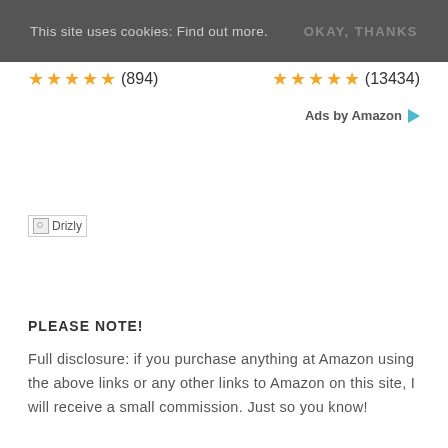This site uses cookies: Find out more. OKAY, THANKS
★★★★★ (894)   ★★★★★ (13434)
Ads by Amazon ▷
[Figure (logo): Drizly logo image (broken image placeholder)]
PLEASE NOTE!
Full disclosure: if you purchase anything at Amazon using the above links or any other links to Amazon on this site, I will receive a small commission. Just so you know!